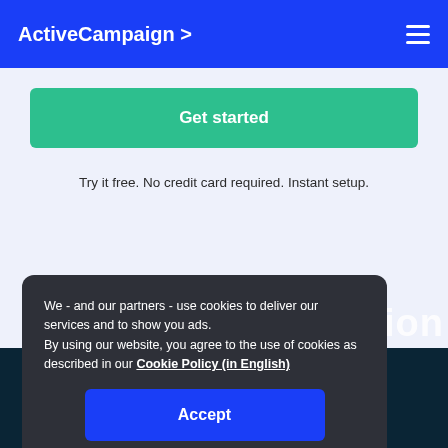ActiveCampaign >
[Figure (screenshot): Green 'Get started' button on light blue background]
Try it free. No credit card required. Instant setup.
[Figure (screenshot): Cookie consent modal dialog with text about cookies, Cookie Policy link, and Accept button. Dark background section with partial 'automation Platform' heading visible behind modal.]
We - and our partners - use cookies to deliver our services and to show you ads. By using our website, you agree to the use of cookies as described in our Cookie Policy (in English)